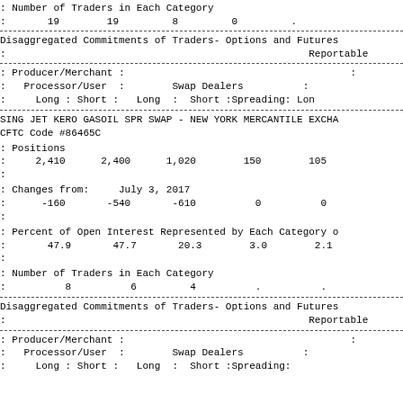: Number of Traders in Each Category
:       19        19         8         0         .
Disaggregated Commitments of Traders- Options and Futures
:                                                   Reportable
: Producer/Merchant :
:   Processor/User  :        Swap Dealers          :
:     Long : Short :   Long  :  Short :Spreading: Lon
SING JET KERO GASOIL SPR SWAP - NEW YORK MERCANTILE EXCHA
CFTC Code #86465C
: Positions
:     2,410      2,400      1,020        150        105
: Changes from:     July 3, 2017
:      -160       -540       -610          0          0
: Percent of Open Interest Represented by Each Category o
:       47.9       47.7       20.3        3.0        2.1
: Number of Traders in Each Category
:          8          6         4          .          .
Disaggregated Commitments of Traders- Options and Futures
:                                                   Reportable
: Producer/Merchant :
:   Processor/User  :        Swap Dealers          :
:     Long : Short :   Long  :  Short :Spreading: